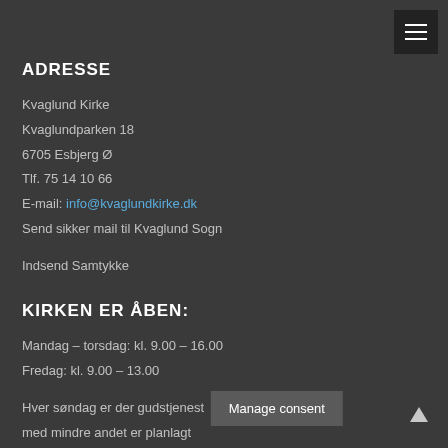ADRESSE
Kvaglund Kirke
Kvaglundparken 18
6705 Esbjerg Ø
Tlf. 75 14 10 66
E-mail: info@kvaglundkirke.dk
Send sikker mail til Kvaglund Sogn
Indsend Samtykke
KIRKEN ER ÅBEN:
Mandag – torsdag: kl. 9.00 – 16.00
Fredag: kl. 9.00 – 13.00
Hver søndag er der gudstjenest med mindre andet er planlagt